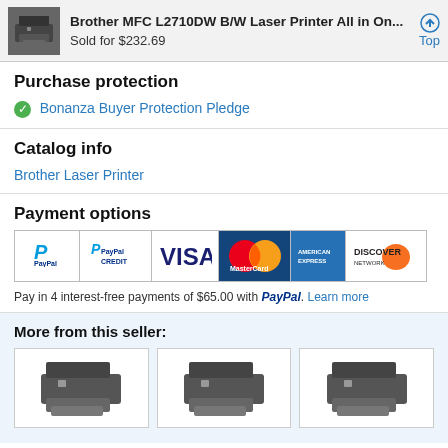Brother MFC L2710DW B/W Laser Printer All in On... Sold for $232.69
Purchase protection
Bonanza Buyer Protection Pledge
Catalog info
Brother Laser Printer
Payment options
[Figure (screenshot): Payment method icons: PayPal, PayPal Credit, VISA, MasterCard, American Express, Discover]
Pay in 4 interest-free payments of $65.00 with PayPal. Learn more
More from this seller:
[Figure (photo): Three Brother laser printer product images shown in a row]